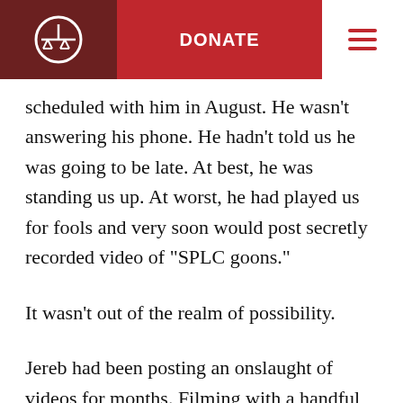DONATE
scheduled with him in August. He wasn’t answering his phone. He hadn’t told us he was going to be late. At best, he was standing us up. At worst, he had played us for fools and very soon would post secretly recorded video of “SPLC goons.”
It wasn’t out of the realm of possibility.
Jereb had been posting an onslaught of videos for months. Filming with a handful of high school friends, Jereb and company had warned of a tyrannical global power running the world